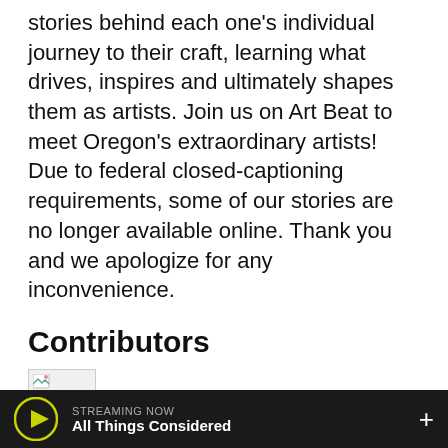stories behind each one's individual journey to their craft, learning what drives, inspires and ultimately shapes them as artists. Join us on Art Beat to meet Oregon's extraordinary artists! Due to federal closed-captioning requirements, some of our stories are no longer available online. Thank you and we apologize for any inconvenience.
Contributors
Jessica Martin
Jule Gilfillan
Eric Slade
STREAMING NOW All Things Considered +